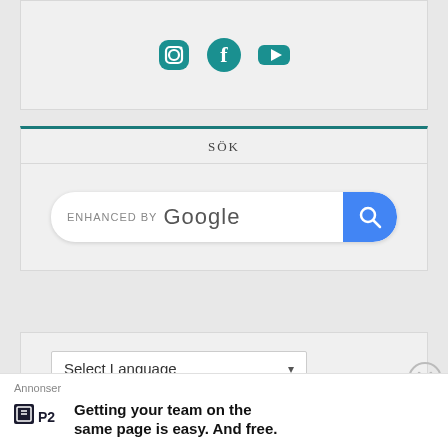[Figure (screenshot): Social media icons: Instagram, Facebook, YouTube in teal color]
SÖK
[Figure (screenshot): Enhanced by Google search bar with blue search button]
[Figure (screenshot): Select Language dropdown with Google Translate powered by text]
Annonser
[Figure (logo): P2 logo]
Getting your team on the same page is easy. And free.